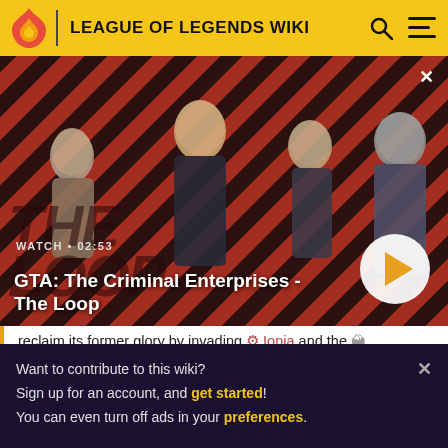LEAGUE OF LEGENDS WIKI
[Figure (screenshot): GTA: The Criminal Enterprises - The Loop video thumbnail with four characters on a red diagonal striped background, with a play button and WATCH • 02:53 label]
reclaim its former glory by invading Ionia and the Freliordian Ironspike Mountains. The actual invasion takes
Want to contribute to this wiki? Sign up for an account, and get started! You can even turn off ads in your preferences.